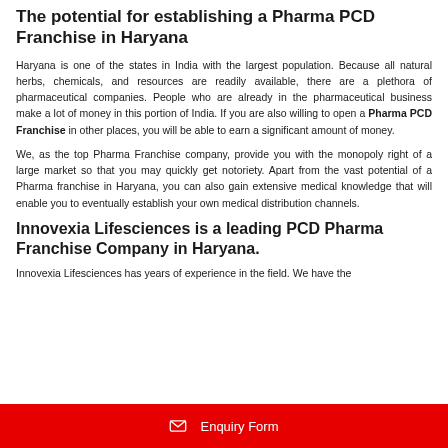The potential for establishing a Pharma PCD Franchise in Haryana
Haryana is one of the states in India with the largest population. Because all natural herbs, chemicals, and resources are readily available, there are a plethora of pharmaceutical companies. People who are already in the pharmaceutical business make a lot of money in this portion of India. If you are also willing to open a Pharma PCD Franchise in other places, you will be able to earn a significant amount of money.
We, as the top Pharma Franchise company, provide you with the monopoly right of a large market so that you may quickly get notoriety. Apart from the vast potential of a Pharma franchise in Haryana, you can also gain extensive medical knowledge that will enable you to eventually establish your own medical distribution channels.
Innovexia Lifesciences is a leading PCD Pharma Franchise Company in Haryana.
Innovexia Lifesciences has years of experience in the field. We have the
✉ Enquiry Form